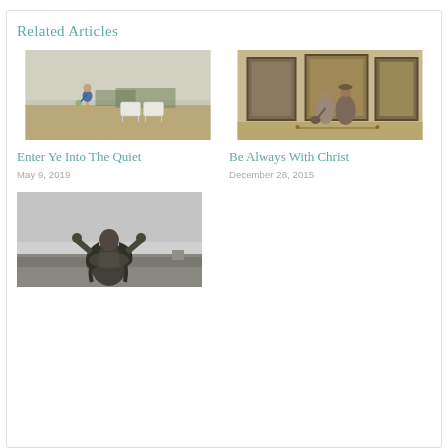Related Articles
[Figure (photo): Woman in blue dress standing on beach with two white Adirondack chairs, foggy background]
Enter Ye Into The Quiet
May 9, 2019
[Figure (photo): Two people standing in an art museum gallery looking at framed paintings on a tan wall]
Be Always With Christ
December 28, 2015
[Figure (photo): Black and white photo of a woman with hands on her head, hair blowing, viewed from behind against a countryside landscape]